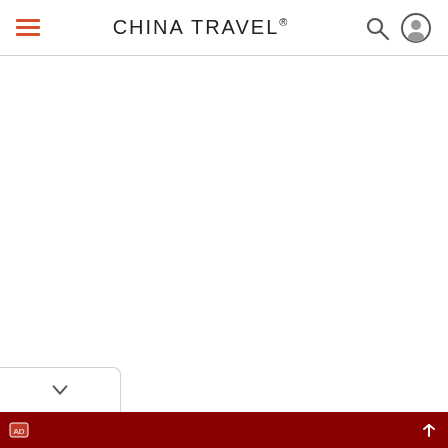CHINA TRAVEL®
[Figure (screenshot): White content area, mostly blank/empty page body below the navigation header]
[Figure (other): Bottom tab with a chevron/down arrow icon, partially visible at the lower left]
[Figure (other): Dark red advertisement bar at the bottom of the screen with small icons]